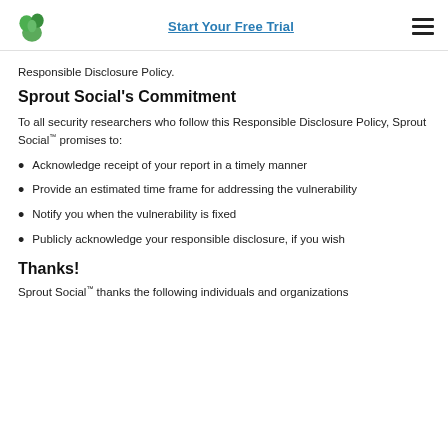Start Your Free Trial
Responsible Disclosure Policy.
Sprout Social's Commitment
To all security researchers who follow this Responsible Disclosure Policy, Sprout Social™ promises to:
Acknowledge receipt of your report in a timely manner
Provide an estimated time frame for addressing the vulnerability
Notify you when the vulnerability is fixed
Publicly acknowledge your responsible disclosure, if you wish
Thanks!
Sprout Social™ thanks the following individuals and organizations